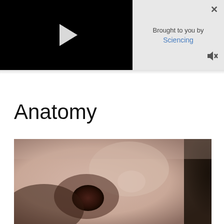[Figure (screenshot): Video player with black background and white play button triangle]
Brought to you by
Sciencing
Anatomy
[Figure (photo): Close-up macro photograph of a human nose from the front-side angle, showing the nostril and skin texture against a dark background]